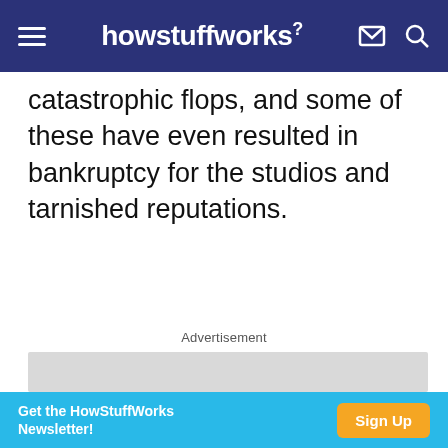howstuffworks
catastrophic flops, and some of these have even resulted in bankruptcy for the studios and tarnished reputations.
Advertisement
[Figure (other): Gray advertisement placeholder box]
Get the HowStuffWorks Newsletter! Sign Up